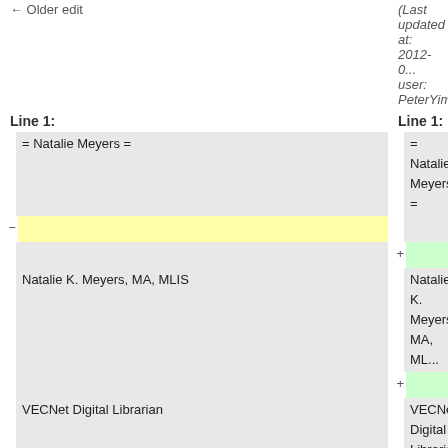← Older edit
(Last updated at: 2012-0... user: PeterYim)
Line 1:
Line 1:
| = Natalie Meyers = | = Natalie Meyers = |
| [yellow blank] | [empty] |
| [blank] | [green blank] |
| Natalie K. Meyers, MA, MLIS | Natalie K. Meyers, MA, ML... |
| [blank] | [green blank] |
| VECNet Digital Librarian | VECNet Digital Librarian |
| [blank] | [green blank] |
| '''University of Notre Dame''' | '''University of Notre Dame'... |
| [blank] | [blank] |
| email: natalie.meyers [at] nd.edu | email: natalie.meyers [at] n... |
| [blank] | [green blank] |
| [blank] | '''... Natalie, at your conveni... expand on this page, and k... |
| [blank] | + community can get to know... |
| [blank] | ... (read [[WikiHomePage|th... time editing the Ontolog wi... |
| [blank] | [green blank] |
| [blank] | + [[Category:Person]] |